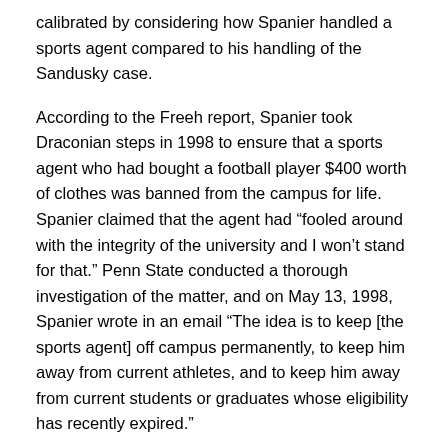calibrated by considering how Spanier handled a sports agent compared to his handling of the Sandusky case.
According to the Freeh report, Spanier took Draconian steps in 1998 to ensure that a sports agent who had bought a football player $400 worth of clothes was banned from the campus for life. Spanier claimed that the agent had “fooled around with the integrity of the university and I won’t stand for that.” Penn State conducted a thorough investigation of the matter, and on May 13, 1998, Spanier wrote in an email “The idea is to keep [the sports agent] off campus permanently, to keep him away from current athletes, and to keep him away from current students or graduates whose eligibility has recently expired.”
In contrast, on June 9, 1998 when Spanier received his final update from university police chief Thomas Harmon